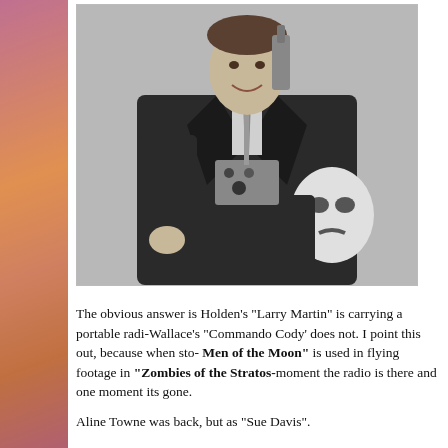[Figure (photo): Black and white promotional photo of a man in a dark leather jacket holding a futuristic rocket-pack style device and a white mask with eye and mouth holes. He is smiling and appears to be in costume as a science fiction character.]
The obvious answer is Holden's "Larry Martin" is carrying a portable radi-Wallace's "Commando Cody' does not. I point this out, because when sto-Men of the Moon" is used in flying footage in "Zombies of the Stratos-moment the radio is there and one moment its gone.
Aline Towne was back, but as "Sue Davis".